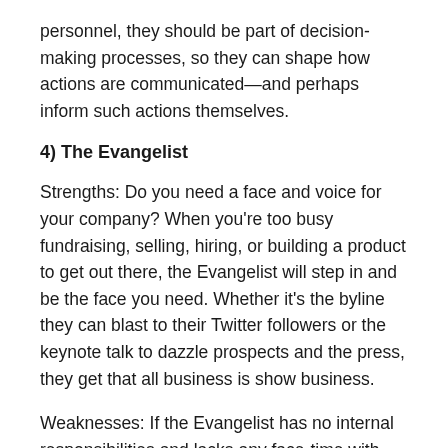personnel, they should be part of decision-making processes, so they can shape how actions are communicated—and perhaps inform such actions themselves.
4) The Evangelist
Strengths: Do you need a face and voice for your company? When you're too busy fundraising, selling, hiring, or building a product to get out there, the Evangelist will step in and be the face you need. Whether it's the byline they can blast to their Twitter followers or the keynote talk to dazzle prospects and the press, they get that all business is show business.
Weaknesses: If the Evangelist has no internal responsibilities and lacks any face-time with clients, then there will be little of substance for this mouthpiece to mouth off on. They, in turn, run the